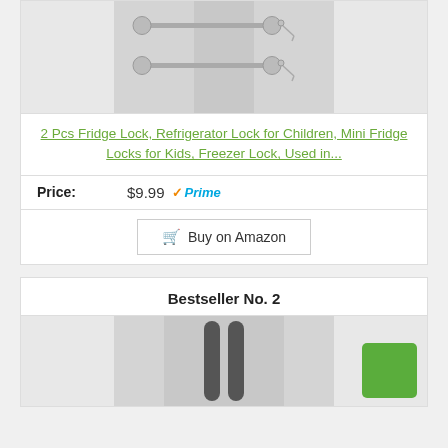[Figure (photo): Refrigerator with fridge locks showing two horizontal bar locks with keys on a silver/stainless steel refrigerator]
2 Pcs Fridge Lock, Refrigerator Lock for Children, Mini Fridge Locks for Kids, Freezer Lock, Used in...
Price: $9.99 Prime
Buy on Amazon
Bestseller No. 2
[Figure (photo): Close-up of stainless steel refrigerator handle/door partially visible]